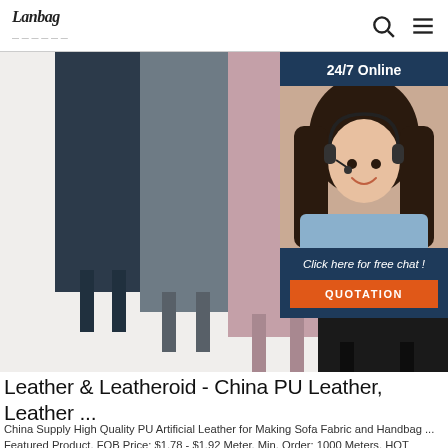Lanbag [logo] | search icon | menu icon
[Figure (photo): Product photo showing stacked leather/leatheroid fabric samples in black, pink/mauve, dark gray, and navy colors arranged vertically with feet visible. Overlaid with a 24/7 online customer service chat widget featuring a smiling woman with headset, 'Click here for free chat!' text, and orange QUOTATION button on dark blue background.]
Leather & Leatheroid - China PU Leather, Leather ...
China Supply High Quality PU Artificial Leather for Making Sofa Fabric and Handbag ... Featured Product. FOB Price: $1.78 - $1.92 Meter. Min. Order: 1000 Meters. HOT PRODUCT artificial leather for making shoes,bags,clothing,sofa,phone cases,notebooks,belts